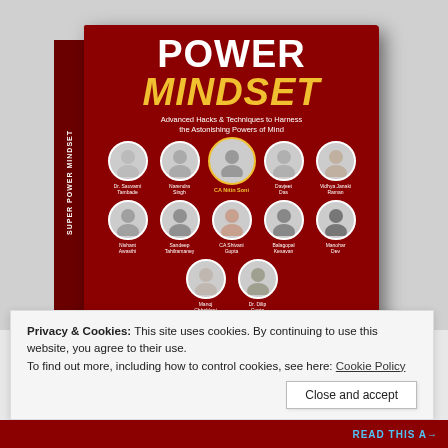[Figure (photo): Book cover of 'Super Power Mindset: Advanced Hacks & Techniques to Harness the Astonishing Powers of Mind' with authors shown in circular photos. Authors include Dr. Sauvarni Tambade, Narendra Singh, CA Nitin Soni, Davjeet Das, Vidhya Janaki Raman, Nishant Awasthi, Sandeep Tahilramaney, CA Shivani Gupta, Balagopal Kesavan, Manohar Dev, Manoj Chhablani, Dr. Dilip Gupta. Red cover with white and yellow text.]
Privacy & Cookies: This site uses cookies. By continuing to use this website, you agree to their use.
To find out more, including how to control cookies, see here: Cookie Policy
Close and accept